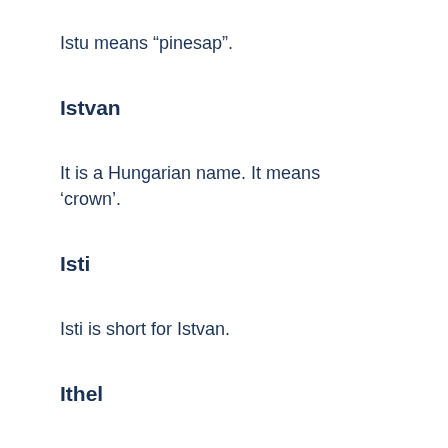Istu means “pinesap”.
Istvan
It is a Hungarian name. It means ‘crown’.
Isti
Isti is short for Istvan.
Ithel
The name Ithel means “charitable lord”. It is a Welsh name.